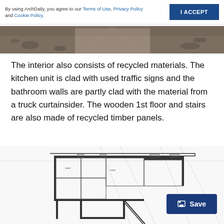By using ArchDaily, you agree to our Terms of Use, Privacy Policy and Cookie Policy.
I ACCEPT
[Figure (photo): Aerial or wide-angle photograph of a construction site with earth and gravel ground, showing a road or path.]
The interior also consists of recycled materials. The kitchen unit is clad with used traffic signs and the bathroom walls are partly clad with the material from a truck curtainsider. The wooden 1st floor and stairs are also made of recycled timber panels.
[Figure (engineering-diagram): Architectural floor plan drawing showing a building layout with rooms, walls, doors, and structural elements at an angled orientation.]
Save